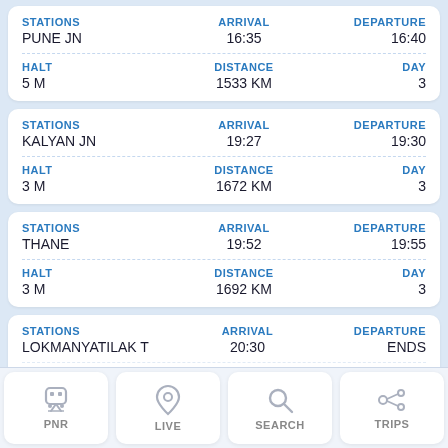| STATIONS | ARRIVAL | DEPARTURE |
| --- | --- | --- |
| PUNE JN | 16:35 | 16:40 |
| STATIONS | ARRIVAL | DEPARTURE |
| --- | --- | --- |
| KALYAN JN | 19:27 | 19:30 |
| STATIONS | ARRIVAL | DEPARTURE |
| --- | --- | --- |
| THANE | 19:52 | 19:55 |
| STATIONS | ARRIVAL | DEPARTURE |
| --- | --- | --- |
| LOKMANYATILAK T | 20:30 | ENDS |
PNR | LIVE | SEARCH | TRIPS